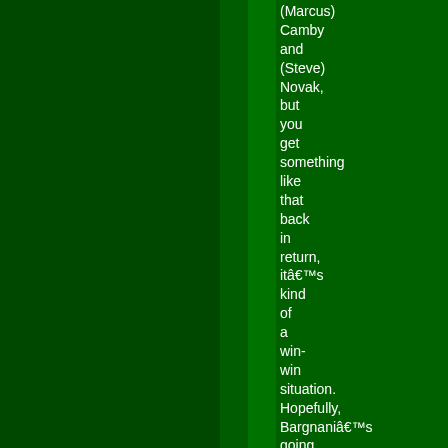(Marcus) Camby and (Steve) Novak, but you get something like that back in return, it's kind of a win-win situation. Hopefully, Bargnani's going to come in